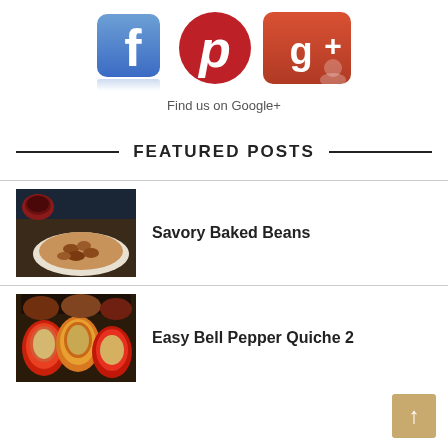[Figure (logo): Social media icons: Facebook (blue 'f' logo), Pinterest (red 'p' logo), Google+ (red 'g+' logo)]
Find us on Google+
FEATURED POSTS
[Figure (photo): Thumbnail photo of Savory Baked Beans dish on a plate]
Savory Baked Beans
[Figure (photo): Thumbnail photo of Easy Bell Pepper Quiche 2 - stuffed bell peppers]
Easy Bell Pepper Quiche 2